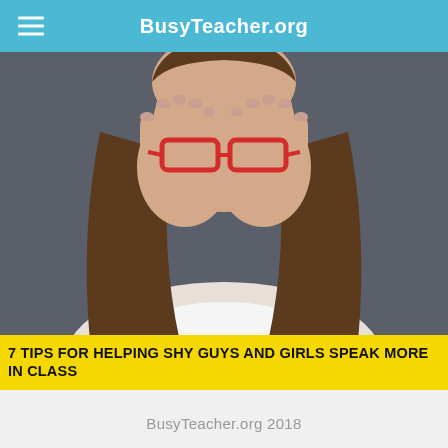BusyTeacher.org
[Figure (photo): A woman with red glasses covering her face with both hands, hiding behind them, with long brown hair, wearing a white sleeveless top, against a dark gray background.]
7 TIPS FOR HELPING SHY GUYS AND GIRLS SPEAK MORE IN CLASS
BusyTeacher.org 2018